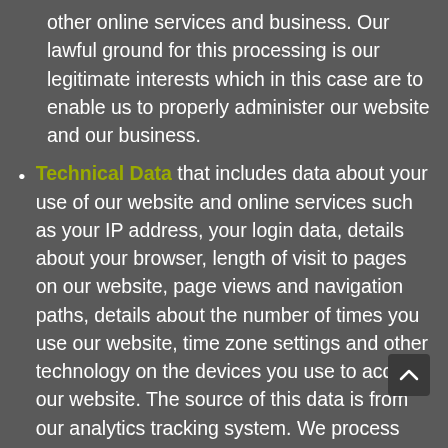other online services and business. Our lawful ground for this processing is our legitimate interests which in this case are to enable us to properly administer our website and our business.
Technical Data that includes data about your use of our website and online services such as your IP address, your login data, details about your browser, length of visit to pages on our website, page views and navigation paths, details about the number of times you use our website, time zone settings and other technology on the devices you use to access our website. The source of this data is from our analytics tracking system. We process this data to analyse your use of our website and other online services, to administer and protect our business and website, to deliver relevant website content and advertisements to you and to understand the effectiveness of our advertising. Our lawful ground for this processing is our legitimate interests which in this case are to enable us